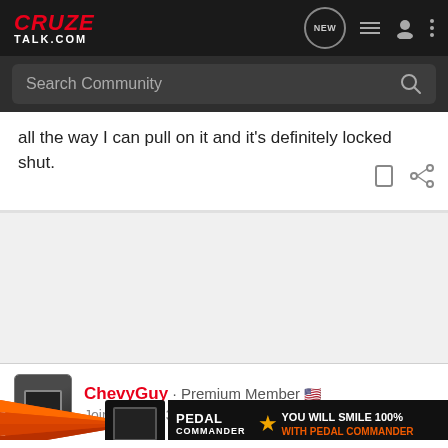CRUZE TALK.COM
Search Community
all the way I can pull on it and it’s definitely locked shut.
ChevyGuy · Premium Member 🇺🇸
Joined Dec 13, 2014 · 8,012 Posts
#5 · Jul 27, 2017
Water g…